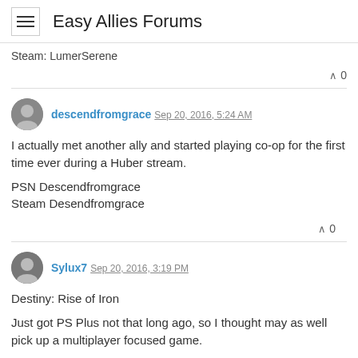Easy Allies Forums
Steam: LumerSerene
0
descendfromgrace Sep 20, 2016, 5:24 AM
I actually met another ally and started playing co-op for the first time ever during a Huber stream.

PSN Descendfromgrace
Steam Desendfromgrace
0
Sylux7 Sep 20, 2016, 3:19 PM
Destiny: Rise of Iron

Just got PS Plus not that long ago, so I thought may as well pick up a multiplayer focused game.